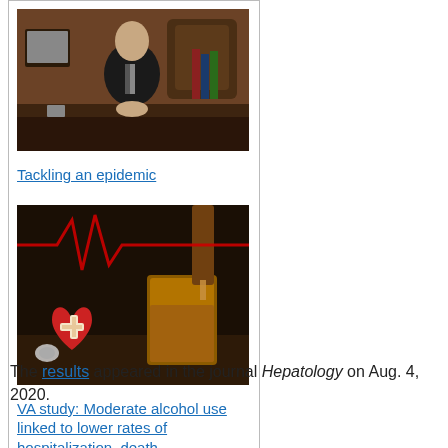[Figure (photo): Man in dark suit sitting at a desk in a wood-paneled office]
Tackling an epidemic
[Figure (photo): Heart monitor line graphic overlaid on image of whiskey being poured into a glass, with a red heart with a bandage and a stethoscope]
VA study: Moderate alcohol use linked to lower rates of hospitalization, death
The results appeared in the journal Hepatology on Aug. 4, 2020.